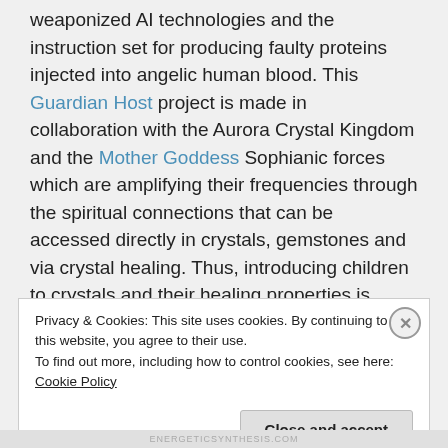weaponized AI technologies and the instruction set for producing faulty proteins injected into angelic human blood. This Guardian Host project is made in collaboration with the Aurora Crystal Kingdom and the Mother Goddess Sophianic forces which are amplifying their frequencies through the spiritual connections that can be accessed directly in crystals, gemstones and via crystal healing. Thus, introducing children to crystals and their healing properties is highly suggested at this time for
Privacy & Cookies: This site uses cookies. By continuing to use this website, you agree to their use. To find out more, including how to control cookies, see here: Cookie Policy